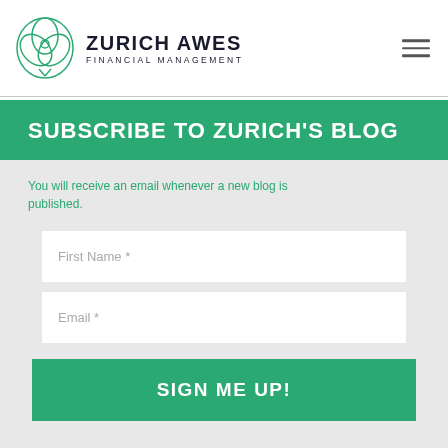ZURICH AWES FINANCIAL MANAGEMENT
SUBSCRIBE TO ZURICH'S BLOG
You will receive an email whenever a new blog is published.
First Name *
Email *
SIGN ME UP!